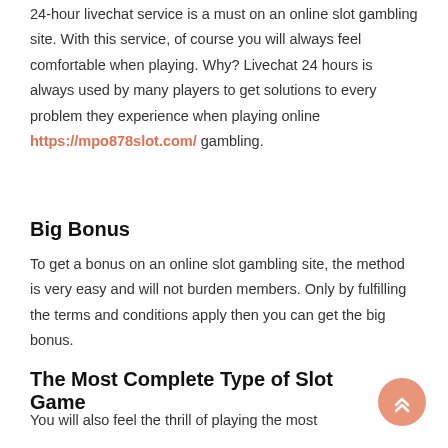24-hour livechat service is a must on an online slot gambling site. With this service, of course you will always feel comfortable when playing. Why? Livechat 24 hours is always used by many players to get solutions to every problem they experience when playing online https://mpo878slot.com/ gambling.
Big Bonus
To get a bonus on an online slot gambling site, the method is very easy and will not burden members. Only by fulfilling the terms and conditions apply then you can get the big bonus.
The Most Complete Type of Slot Game
You will also feel the thrill of playing the most